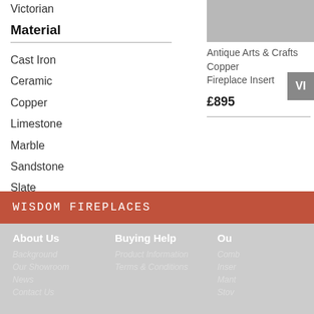Victorian
Material
Cast Iron
Ceramic
Copper
Limestone
Marble
Sandstone
Slate
Steel
Wood
[Figure (photo): Antique Arts & Crafts Copper Fireplace Insert product image thumbnail]
Antique Arts & Crafts Copper Fireplace Insert
£895
WISDOM FIREPLACES | About Us: Background, Our Showroom, News, Contact Us | Buying Help: Product Information, Terms & Conditions | Our: Comb, Inser, Mant, Stov